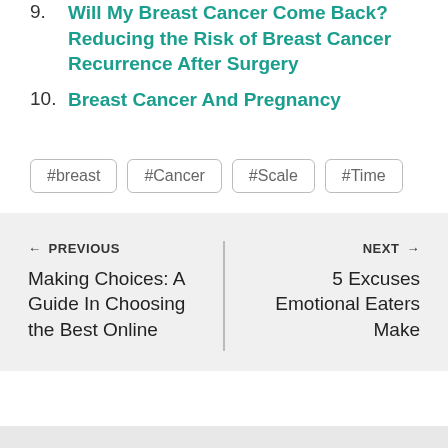9. Will My Breast Cancer Come Back? Reducing the Risk of Breast Cancer Recurrence After Surgery
10. Breast Cancer And Pregnancy
#breast #Cancer #Scale #Time
← PREVIOUS
Making Choices: A Guide In Choosing the Best Online
NEXT →
5 Excuses Emotional Eaters Make